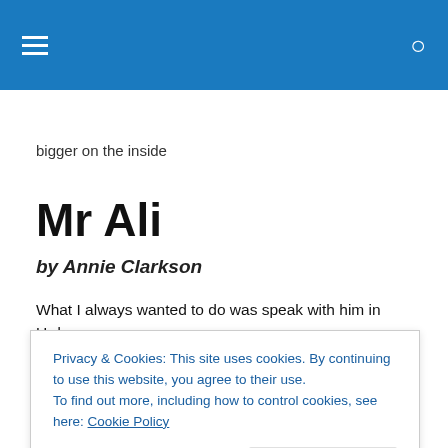≡  🔍
bigger on the inside
Mr Ali
by Annie Clarkson
What I always wanted to do was speak with him in Urdu
Privacy & Cookies: This site uses cookies. By continuing to use this website, you agree to their use. To find out more, including how to control cookies, see here: Cookie Policy
Close and accept